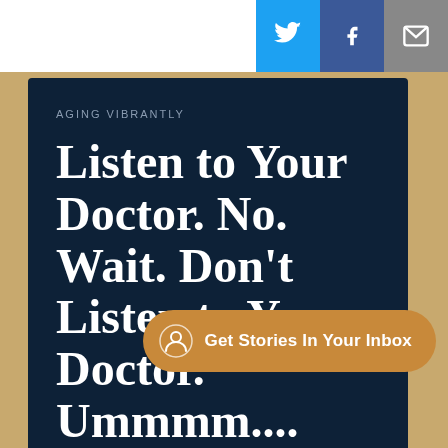AGING VIBRANTLY
Listen to Your Doctor. No. Wait. Don't Listen to Your Doctor. Ummmm....
Choosing [who] listen to can kill you off, or
[Figure (infographic): Call-to-action button: Get Stories In Your Inbox with person/user icon, on orange rounded pill background]